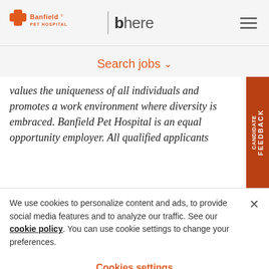[Figure (logo): Banfield Pet Hospital logo with orange paw/cross icon and text, vertical divider, and 'bhere' text logo]
Search jobs ▾
values the uniqueness of all individuals and promotes a work environment where diversity is embraced. Banfield Pet Hospital is an equal opportunity employer. All qualified applicants
We use cookies to personalize content and ads, to provide social media features and to analyze our traffic. See our cookie policy. You can use cookie settings to change your preferences.
Cookies settings